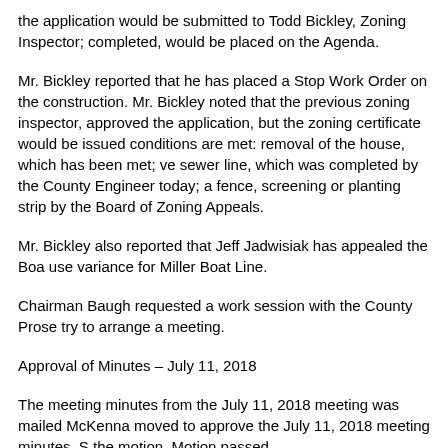the application would be submitted to Todd Bickley, Zoning Inspector; completed, would be placed on the Agenda.
Mr. Bickley reported that he has placed a Stop Work Order on the construction. Mr. Bickley noted that the previous zoning inspector, approved the application, but the zoning certificate would be issued conditions are met: removal of the house, which has been met; ve sewer line, which was completed by the County Engineer today; a fence, screening or planting strip by the Board of Zoning Appeals.
Mr. Bickley also reported that Jeff Jadwisiak has appealed the Boa use variance for Miller Boat Line.
Chairman Baugh requested a work session with the County Prose try to arrange a meeting.
Approval of Minutes – July 11, 2018
The meeting minutes from the July 11, 2018 meeting was mailed McKenna moved to approve the July 11, 2018 meeting minutes. S the motion. Motion passed.